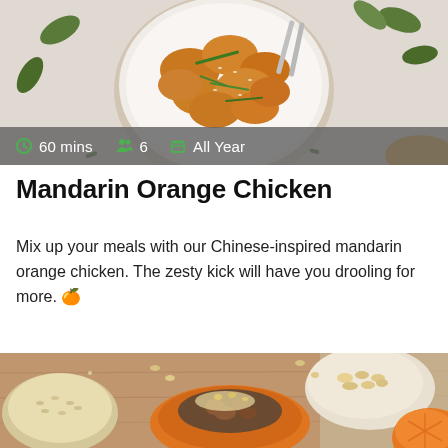[Figure (photo): Overhead view of mandarin orange chicken in a white bowl with green onions and sesame seeds, on a marble surface with leaves]
60 mins  6  All Year
Mandarin Orange Chicken
Mix up your meals with our Chinese-inspired mandarin orange chicken. The zesty kick will have you drooling for more. 🍊
[Figure (photo): Overhead view of roasted pumpkin halves stuffed with mushrooms and cheese on a wooden cutting board, with bowls of grains and nuts]